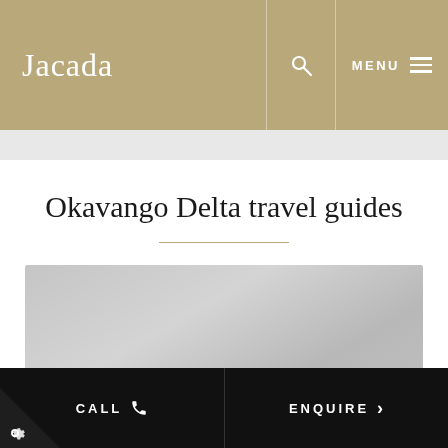Jacada | MENU
Okavango Delta travel guides
[Figure (photo): A gray placeholder image representing an Okavango Delta travel guide card]
CALL | ENQUIRE